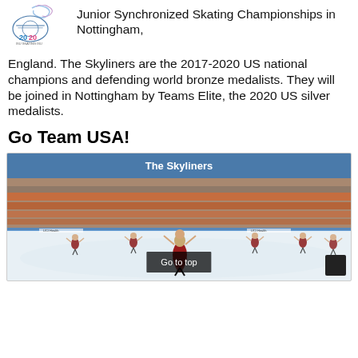Junior Synchronized Skating Championships in Nottingham, England. The Skyliners are the 2017-2020 US national champions and defending world bronze medalists. They will be joined in Nottingham by Teams Elite, the 2020 US silver medalists.
Go Team USA!
[Figure (photo): Photo of synchronized skating team (The Skyliners) performing on ice rink in front of audience, skaters wearing red dresses, arena with orange seats in background. Header bar above photo reads 'The Skyliners'. A 'Go to top' button and black square appear overlaid at bottom.]